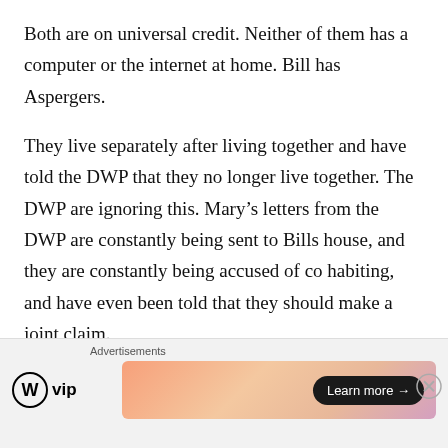Both are on universal credit. Neither of them has a computer or the internet at home. Bill has Aspergers.
They live separately after living together and have told the DWP that they no longer live together. The DWP are ignoring this. Mary’s letters from the DWP are constantly being sent to Bills house, and they are constantly being accused of co habiting, and have even been told that they should make a joint claim.
Despite being a ridiculous thing to suggest,
[Figure (infographic): Advertisement bar with WordPress VIP logo and a gradient banner reading 'Learn more →' button, with a close (X) button]